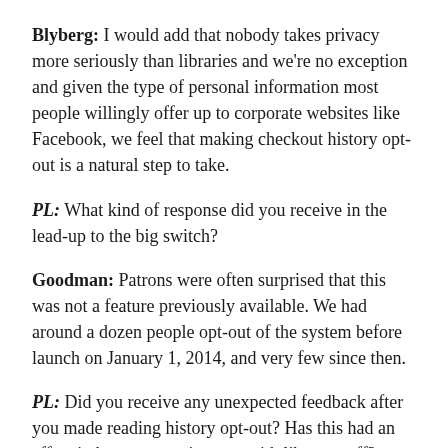Blyberg: I would add that nobody takes privacy more seriously than libraries and we're no exception and given the type of personal information most people willingly offer up to corporate websites like Facebook, we feel that making checkout history opt-out is a natural step to take.
PL: What kind of response did you receive in the lead-up to the big switch?
Goodman: Patrons were often surprised that this was not a feature previously available. We had around a dozen people opt-out of the system before launch on January 1, 2014, and very few since then.
PL: Did you receive any unexpected feedback after you made reading history opt-out? Has this had an effect in how patrons interact with library staff?